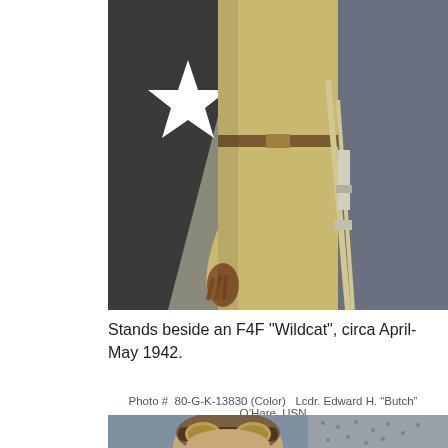[Figure (photo): Color photograph of a WWII-era US Navy aviator in khaki flight suit standing beside an F4F Wildcat aircraft, circa April-May 1942. The pilot is reaching downward with one gloved hand visible.]
Stands beside an F4F "Wildcat", circa April-May 1942.
Photo #  80-G-K-13830 (Color)  Lcdr. Edward H. “Butch” O’Hare, USN
[Figure (photo): Color photograph of Lcdr. Edward H. "Butch" O'Hare, USN, wearing a leather flight helmet and aviator goggles, with a riveted aircraft fuselage visible in the background.]